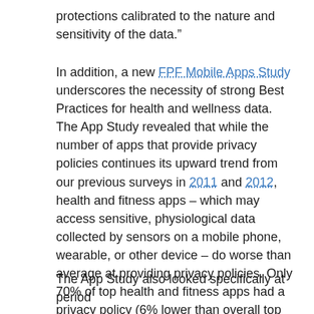protections calibrated to the nature and sensitivity of the data."
In addition, a new FPF Mobile Apps Study underscores the necessity of strong Best Practices for health and wellness data. The App Study revealed that while the number of apps that provide privacy policies continues its upward trend from our previous surveys in 2011 and 2012, health and fitness apps — which may access sensitive, physiological data collected by sensors on a mobile phone, wearable, or other device — do worse than average at providing privacy policies. Only 70% of top health and fitness apps had a privacy policy (6% lower than overall top apps), and only 61% linked to it from the app platform listing page (10% lower than overall top apps).
The App Study also looked specifically at period